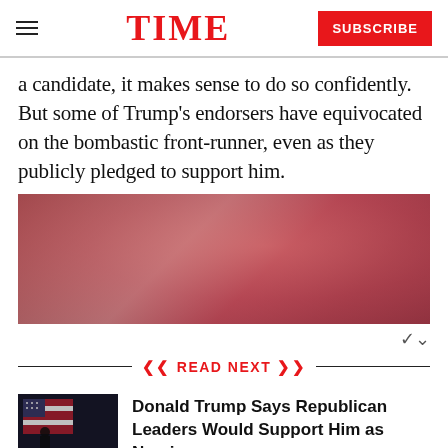TIME | SUBSCRIBE
a candidate, it makes sense to do so confidently. But some of Trump’s endorsers have equivocated on the bombastic front-runner, even as they publicly pledged to support him.
[Figure (photo): A blurry reddish-pink photo of a crowd or event, likely a political rally, with warm ambient lighting.]
READ NEXT
[Figure (photo): Thumbnail image of a person standing in front of an American flag in a dark venue, likely a political event.]
Donald Trump Says Republican Leaders Would Support Him as Nominee